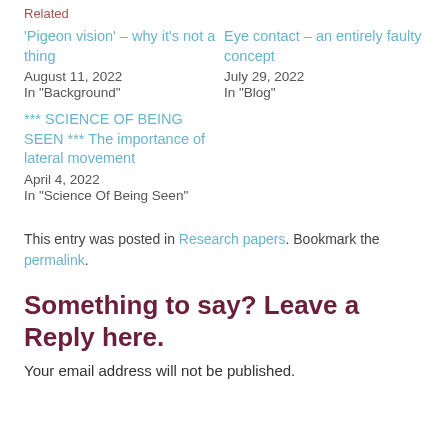Related
'Pigeon vision' – why it's not a thing
August 11, 2022
In "Background"
Eye contact – an entirely faulty concept
July 29, 2022
In "Blog"
*** SCIENCE OF BEING SEEN *** The importance of lateral movement
April 4, 2022
In "Science Of Being Seen"
This entry was posted in Research papers. Bookmark the permalink.
Something to say? Leave a Reply here.
Your email address will not be published.